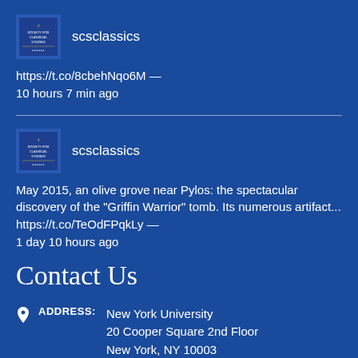[Figure (logo): SCS Society for Classical Studies book cover logo avatar]
scsclassics
https://t.co/8cbehNqo6M — 10 hours 7 min ago
[Figure (logo): SCS Society for Classical Studies book cover logo avatar]
scsclassics
May 2015, an olive grove near Pylos: the spectacular discovery of the "Griffin Warrior" tomb. Its numerous artifact... https://t.co/TeOdFPqkLy — 1 day 10 hours ago
Contact Us
ADDRESS: New York University 20 Cooper Square 2nd Floor New York, NY 10003